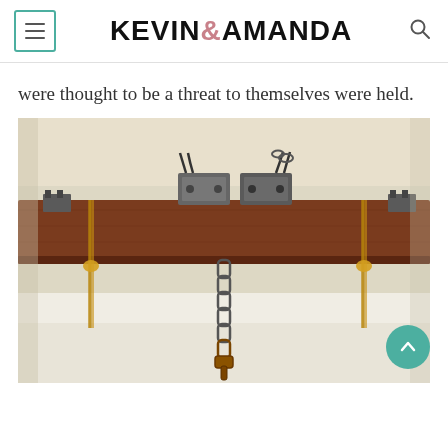KEVIN & AMANDA
were thought to be a threat to themselves were held.
[Figure (photo): A wooden beam or plank mounted horizontally, with metal clasps/brackets on top and rope tied on the sides, and a metal chain hanging down from the center — appears to be a historical restraint device inside an old building.]